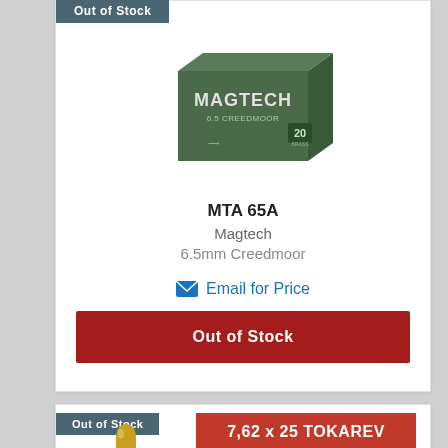Out of Stock
[Figure (photo): Magtech 6.5mm Creedmoor ammunition box, green packaging with MAGTECH branding and 20 rounds label]
MTA 65A
Magtech
6.5mm Creedmoor
Email for Price
Out of Stock
Out of Stock
[Figure (photo): Bullet/projectile photo for 7.62x25 Tokarev ammunition]
7,62 x 25 TOKAREV